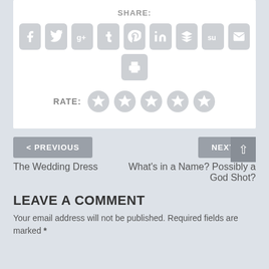SHARE:
[Figure (infographic): Row of social media share buttons: Facebook, Twitter, Google+, Tumblr, Pinterest, LinkedIn, Buffer, StumbleUpon, Email, and a Print button below]
RATE: (5 star icons)
< PREVIOUS
The Wedding Dress
NEXT >
What's in a Name? Possibly a God Shot?
LEAVE A COMMENT
Your email address will not be published. Required fields are marked *